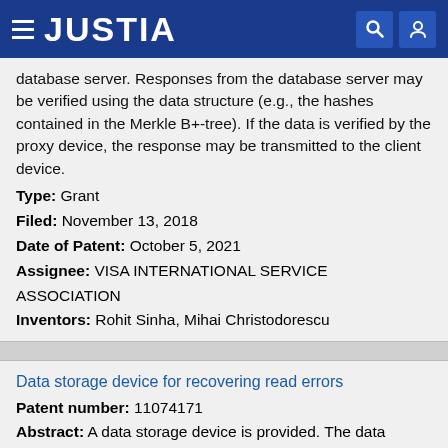JUSTIA
database server. Responses from the database server may be verified using the data structure (e.g., the hashes contained in the Merkle B+-tree). If the data is verified by the proxy device, the response may be transmitted to the client device.
Type: Grant
Filed: November 13, 2018
Date of Patent: October 5, 2021
Assignee: VISA INTERNATIONAL SERVICE ASSOCIATION
Inventors: Rohit Sinha, Mihai Christodorescu
Data storage device for recovering read errors
Patent number: 11074171
Abstract: A data storage device is provided. The data storage device a buffer configured to store a mapping table comprising physical block addresses (PBAs) corresponding to logical block addresses (LBAs), a non-